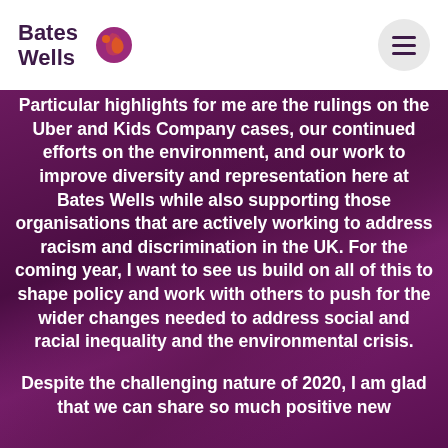Bates Wells
Particular highlights for me are the rulings on the Uber and Kids Company cases, our continued efforts on the environment, and our work to improve diversity and representation here at Bates Wells while also supporting those organisations that are actively working to address racism and discrimination in the UK. For the coming year, I want to see us build on all of this to shape policy and work with others to push for the wider changes needed to address social and racial inequality and the environmental crisis.
Despite the challenging nature of 2020, I am glad that we can share so much positive new...